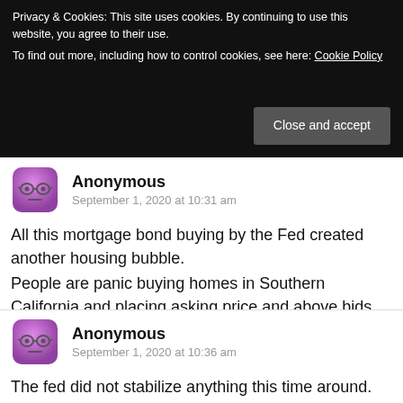Privacy & Cookies: This site uses cookies. By continuing to use this website, you agree to their use. To find out more, including how to control cookies, see here: Cookie Policy
Close and accept
Anonymous
September 1, 2020 at 10:31 am
All this mortgage bond buying by the Fed created another housing bubble.
People are panic buying homes in Southern California and placing asking price and above bids.
Reply
Anonymous
September 1, 2020 at 10:36 am
The fed did not stabilize anything this time around.
They overshot this time.